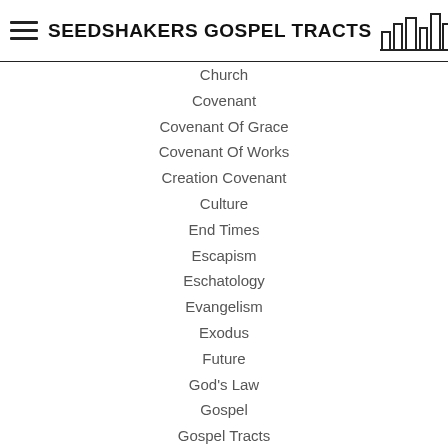SEEDSHAKERS GOSPEL TRACTS
Church
Covenant
Covenant Of Grace
Covenant Of Works
Creation Covenant
Culture
End Times
Escapism
Eschatology
Evangelism
Exodus
Future
God's Law
Gospel
Gospel Tracts
Gospel Tracts
History
Is Jesus Coming Soon
Law And Gospel